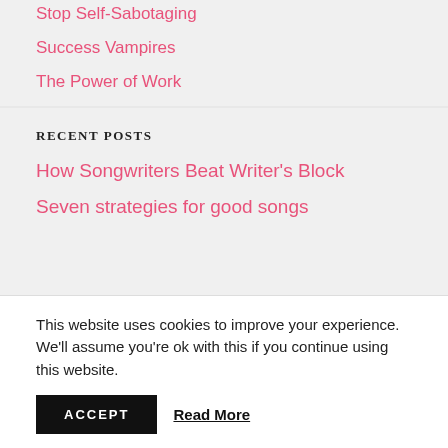Stop Self-Sabotaging
Success Vampires
The Power of Work
RECENT POSTS
How Songwriters Beat Writer's Block
Seven strategies for good songs
This website uses cookies to improve your experience. We'll assume you're ok with this if you continue using this website.
ACCEPT
Read More